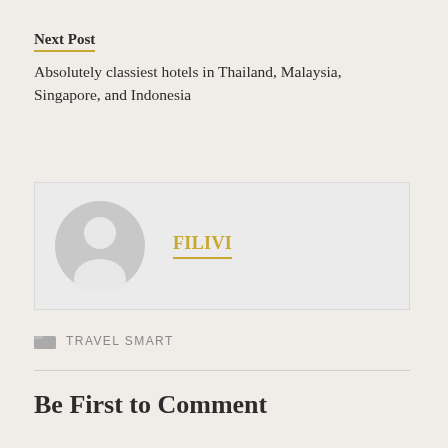Next Post
Absolutely classiest hotels in Thailand, Malaysia, Singapore, and Indonesia
[Figure (illustration): Author profile box with gray avatar icon and name FILIVI in gold bold text with gold underline]
TRAVEL SMART
Be First to Comment